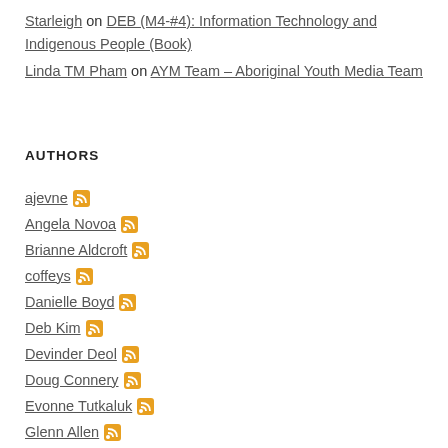Starleigh on DEB (M4-#4): Information Technology and Indigenous People (Book)
Linda TM Pham on AYM Team – Aboriginal Youth Media Team
AUTHORS
ajevne
Angela Novoa
Brianne Aldcroft
coffeys
Danielle Boyd
Deb Kim
Devinder Deol
Doug Connery
Evonne Tutkaluk
Glenn Allen
Jason
Jason McAllister